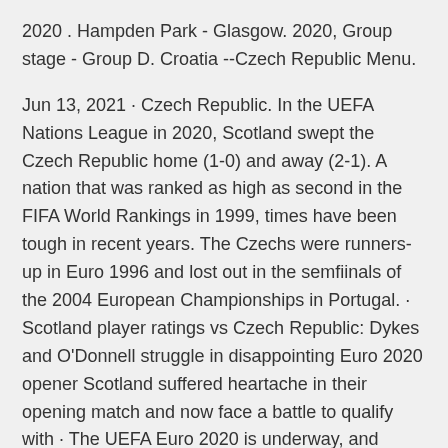2020 . Hampden Park - Glasgow. 2020, Group stage - Group D. Croatia --Czech Republic Menu.
Jun 13, 2021 · Czech Republic. In the UEFA Nations League in 2020, Scotland swept the Czech Republic home (1-0) and away (2-1). A nation that was ranked as high as second in the FIFA World Rankings in 1999, times have been tough in recent years. The Czechs were runners-up in Euro 1996 and lost out in the semfiinals of the 2004 European Championships in Portugal. · Scotland player ratings vs Czech Republic: Dykes and O'Donnell struggle in disappointing Euro 2020 opener Scotland suffered heartache in their opening match and now face a battle to qualify with · The UEFA Euro 2020 is underway, and England will campaign when they welcome Croatia in a Group D clash on Sunday. England have become an extremely